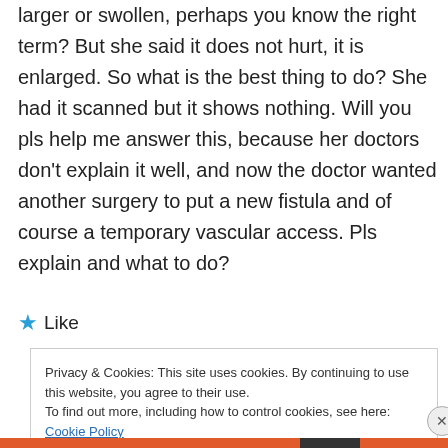larger or swollen, perhaps you know the right term? But she said it does not hurt, it is enlarged. So what is the best thing to do? She had it scanned but it shows nothing. Will you pls help me answer this, because her doctors don't explain it well, and now the doctor wanted another surgery to put a new fistula and of course a temporary vascular access. Pls explain and what to do?
★ Like
Privacy & Cookies: This site uses cookies. By continuing to use this website, you agree to their use.
To find out more, including how to control cookies, see here: Cookie Policy
Close and accept